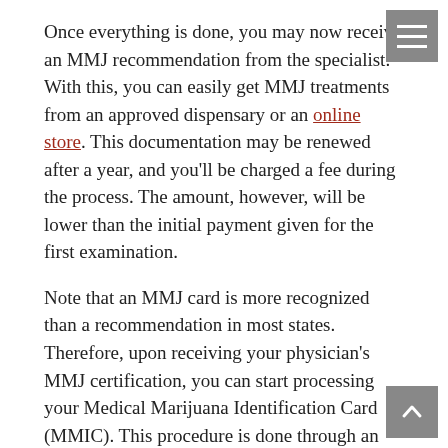Once everything is done, you may now receive an MMJ recommendation from the specialist. With this, you can easily get MMJ treatments from an approved dispensary or an online store. This documentation may be renewed after a year, and you'll be charged a fee during the process. The amount, however, will be lower than the initial payment given for the first examination.
Note that an MMJ card is more recognized than a recommendation in most states. Therefore, upon receiving your physician's MMJ certification, you can start processing your Medical Marijuana Identification Card (MMIC). This procedure is done through an individual's county MMIC program.
Conclusion
There's no need to get anxious over a medical marijuana evaluation. The examination process is uncomplicated and takes about 20 to 30 minutes only. The details of this procedure remain confidential, as is required by law.
To get your MMJ card, you first schedule an appointment with a certified cannabis doctor. They will verify and analyze